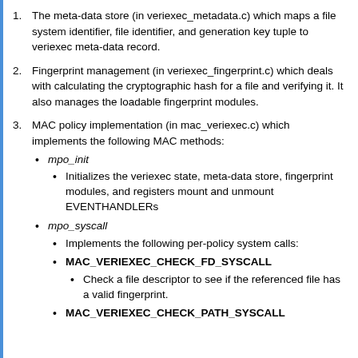1. The meta-data store (in veriexec_metadata.c) which maps a file system identifier, file identifier, and generation key tuple to veriexec meta-data record.
2. Fingerprint management (in veriexec_fingerprint.c) which deals with calculating the cryptographic hash for a file and verifying it. It also manages the loadable fingerprint modules.
3. MAC policy implementation (in mac_veriexec.c) which implements the following MAC methods:
mpo_init
Initializes the veriexec state, meta-data store, fingerprint modules, and registers mount and unmount EVENTHANDLERs
mpo_syscall
Implements the following per-policy system calls:
MAC_VERIEXEC_CHECK_FD_SYSCALL
Check a file descriptor to see if the referenced file has a valid fingerprint.
MAC_VERIEXEC_CHECK_PATH_SYSCALL